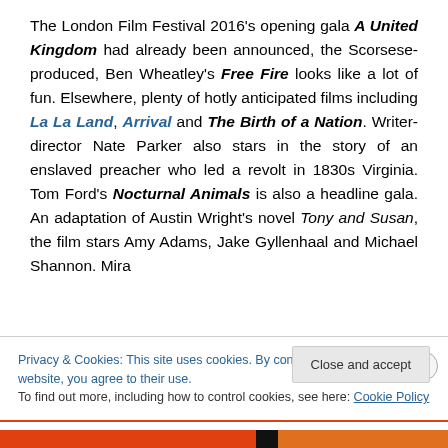The London Film Festival 2016's opening gala A United Kingdom had already been announced, the Scorsese-produced, Ben Wheatley's Free Fire looks like a lot of fun. Elsewhere, plenty of hotly anticipated films including La La Land, Arrival and The Birth of a Nation. Writer-director Nate Parker also stars in the story of an enslaved preacher who led a revolt in 1830s Virginia. Tom Ford's Nocturnal Animals is also a headline gala. An adaptation of Austin Wright's novel Tony and Susan, the film stars Amy Adams, Jake Gyllenhaal and Michael Shannon. Mira
Privacy & Cookies: This site uses cookies. By continuing to use this website, you agree to their use.
To find out more, including how to control cookies, see here: Cookie Policy